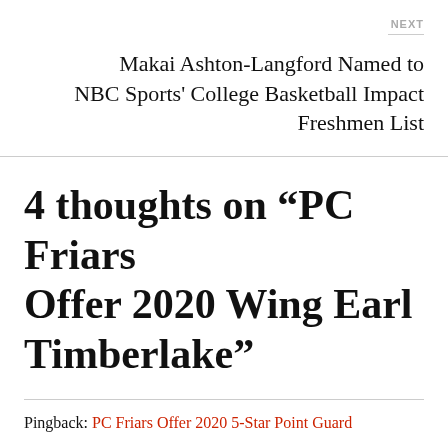NEXT
Makai Ashton-Langford Named to NBC Sports' College Basketball Impact Freshmen List
4 thoughts on “PC Friars Offer 2020 Wing Earl Timberlake”
Pingback: PC Friars Offer 2020 5-Star Point Guard